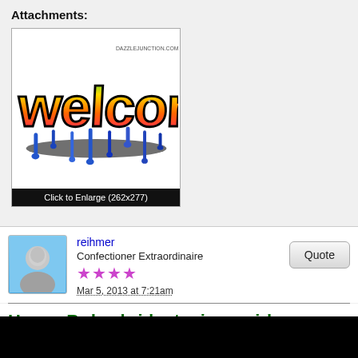Attachments:
[Figure (illustration): Colorful graffiti-style 'welcome' text with dripping paint effect, from dazzlejunction.com]
Click to Enlarge (262x277)
reihmer
Confectioner Extraordinaire
★★★★
Mar 5, 2013 at 7:21am
Happy B-day bridget, piscesgirl,